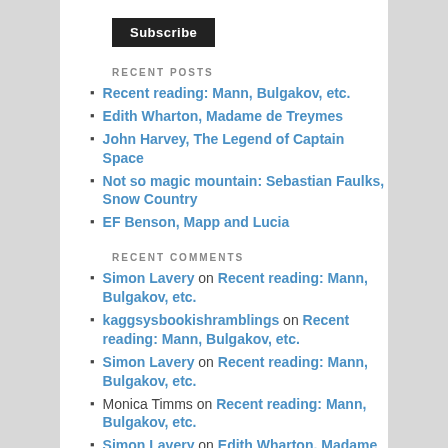Subscribe
RECENT POSTS
Recent reading: Mann, Bulgakov, etc.
Edith Wharton, Madame de Treymes
John Harvey, The Legend of Captain Space
Not so magic mountain: Sebastian Faulks, Snow Country
EF Benson, Mapp and Lucia
RECENT COMMENTS
Simon Lavery on Recent reading: Mann, Bulgakov, etc.
kaggsysbookishramblings on Recent reading: Mann, Bulgakov, etc.
Simon Lavery on Recent reading: Mann, Bulgakov, etc.
Monica Timms on Recent reading: Mann, Bulgakov, etc.
Simon Lavery on Edith Wharton, Madame de Treymes